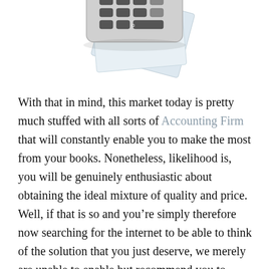[Figure (photo): A calculator with some papers/documents underneath it, partially visible at the top of the page.]
With that in mind, this market today is pretty much stuffed with all sorts of Accounting Firm that will constantly enable you to make the most from your books. Nonetheless, likelihood is, you will be genuinely enthusiastic about obtaining the ideal mixture of quality and price. Well, if that is so and you're simply therefore now searching for the internet to be able to think of the solution that you just deserve, we merely are unable to enable but recommend you to definitely understand much